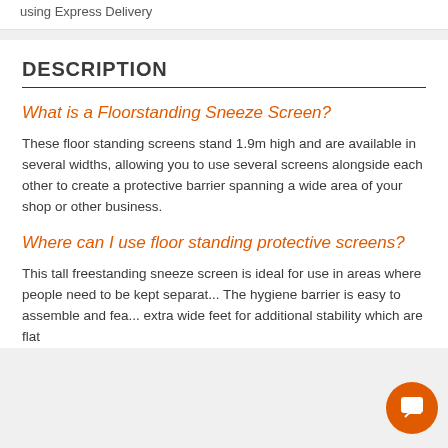using Express Delivery
DESCRIPTION
What is a Floorstanding Sneeze Screen?
These floor standing screens stand 1.9m high and are available in several widths, allowing you to use several screens alongside each other to create a protective barrier spanning a wide area of your shop or other business.
Where can I use floor standing protective screens?
This tall freestanding sneeze screen is ideal for use in areas where people need to be kept separat... The hygiene barrier is easy to assemble and fea... extra wide feet for additional stability which are flat